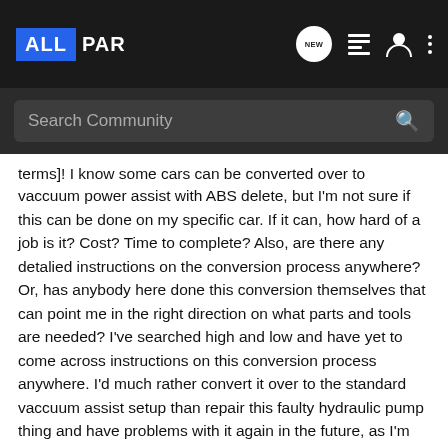ALLPAR — Search Community
terms]! I know some cars can be converted over to traditional vaccuum power assist with ABS delete, but I'm not sure if this can be done on my specific car. If it can, how hard of a job is it? Cost? Time to complete? Also, are there any detalied instructions on the conversion process anywhere? Or, has anybody here done this conversion themselves that can point me in the right direction on what parts and tools are needed? I've searched high and low and have yet to come across instructions on this conversion process anywhere. I'd much rather convert it over to the standard vaccuum assist setup than repair this faulty hydraulic pump thing and have problems with it again in the future, as I'm sure I would.
I really, really do not want to get rid of this car as it's been nothing but reliable over the years, and is in very good shape in